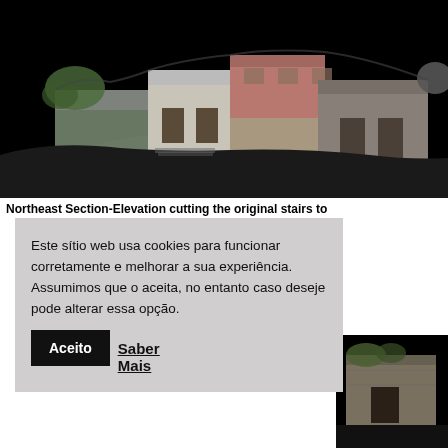[Figure (photo): 3D point cloud / photogrammetric model of a dilapidated building complex shown against a black background — Northeast Section-Elevation view showing original stairs area]
Northeast Section-Elevation cutting the original stairs to
Este sítio web usa cookies para funcionar corretamente e melhorar a sua experiência. Assumimos que o aceita, no entanto caso deseje pode alterar essa opção.
Aceito   Saber Mais
[Figure (photo): 3D point cloud / photogrammetric model of a stone building entrance, partially visible at bottom-right of page]